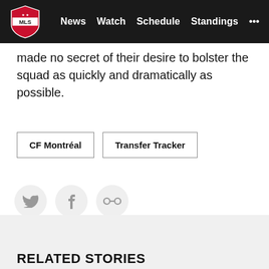MLS — News | Watch | Schedule | Standings | ...
made no secret of their desire to bolster the squad as quickly and dramatically as possible.
CF Montréal   Transfer Tracker
[Figure (infographic): Social sharing icons: Twitter bird, Facebook f, and chain/link icon, each in a light grey circle]
RELATED STORIES